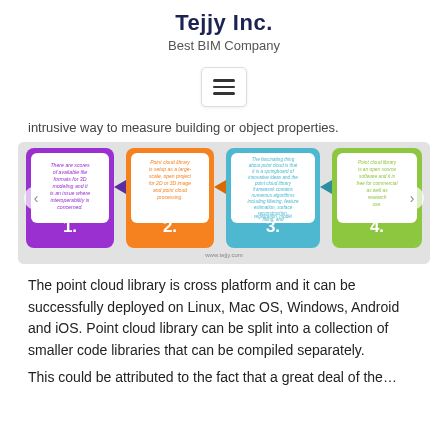Tejjy Inc.
Best BIM Company
[Figure (infographic): Four-panel infographic showing steps about Point Cloud Library: 1. There are scores of available file formats for 3D modeling and it is an issue where interoperability is concerned. 2. Point cloud library is setup as a large scale, open project for 2D or 3D image and point cloud processing. 3. The fascinating thing about point cloud is that it is a springboard of innovative ideas and the point cloud library framework contains numerous algorithms including filtering, feature estimation, surface reconstruction, registration, model fitting, and segmentation. 4. Point cloud library is an open source software and it is free for commercial as well as research use.]
The point cloud library is cross platform and it can be successfully deployed on Linux, Mac OS, Windows, Android and iOS. Point cloud library can be split into a collection of smaller code libraries that can be compiled separately.
This could be attributed to the fact that a great deal of the...